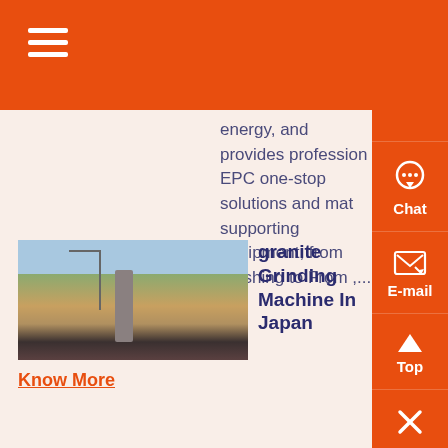energy, and provides profession EPC one-stop solutions and mat supporting equipment, from crushing to From ,...
granite Grinding Machine In Japan
Know More
Granite grinding machines in malaysia youtubepr 12, 2015 our company provide quarry plant machines for diamond mining to ...